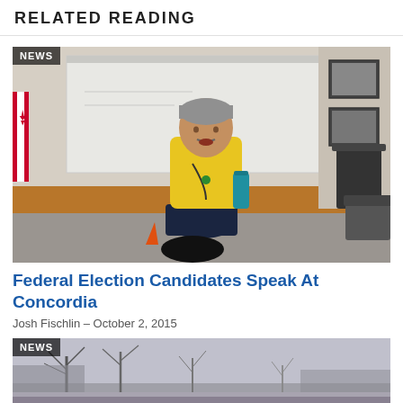RELATED READING
[Figure (photo): A man in a yellow shirt sitting on a desk in a classroom setting with a whiteboard behind him and framed pictures on the wall. A teal water bottle is on the desk. A Canadian flag is partially visible on the left.]
Federal Election Candidates Speak At Concordia
Josh Fischlin – October 2, 2015
[Figure (photo): A wintry foggy street scene with bare trees in the background, partially visible at the bottom of the page. NEWS badge visible.]